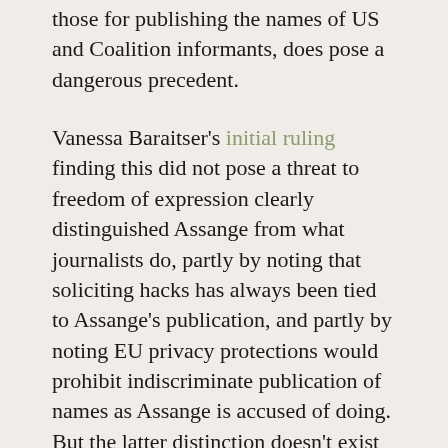those for publishing the names of US and Coalition informants, does pose a dangerous precedent.
Vanessa Baraitser's initial ruling finding this did not pose a threat to freedom of expression clearly distinguished Assange from what journalists do, partly by noting that soliciting hacks has always been tied to Assange's publication, and partly by noting EU privacy protections would prohibit indiscriminate publication of names as Assange is accused of doing. But the latter distinction doesn't exist in US law. There are no such protections for privacy in the US.
For that reason, I'm more interested in what happens now that the UK has reached a final decision. After all, Joshua Schulte just caused to